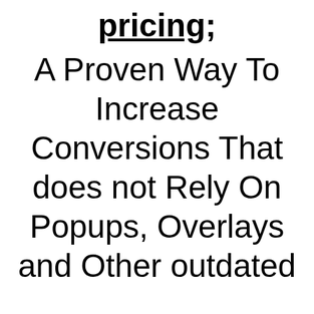pricing; A Proven Way To Increase Conversions That does not Rely On Popups, Overlays and Other outdated